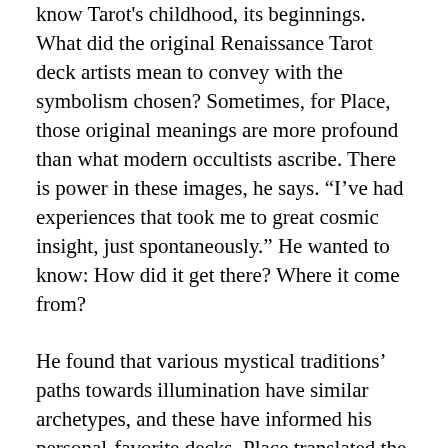know Tarot's childhood, its beginnings. What did the original Renaissance Tarot deck artists mean to convey with the symbolism chosen? Sometimes, for Place, those original meanings are more profound than what modern occultists ascribe. There is power in these images, he says. “I’ve had experiences that took me to great cosmic insight, just spontaneously.” He wanted to know: How did it get there? Where it come from?
He found that various mystical traditions’ paths towards illumination have similar archetypes, and these have informed his personal-favorite decks. Place translated the alchemist’s quest for gold and the Buddha’s path into the Tarot trumps of The Alchemical Tarot and The Buddha Tarot. These same enlightenment allegories are also found in his newest Tarot deck, The Tarot of the Sevenfold Mystery. He describes three soul levels to travel through: Soul of Appetite, Soul of Will and Soul of